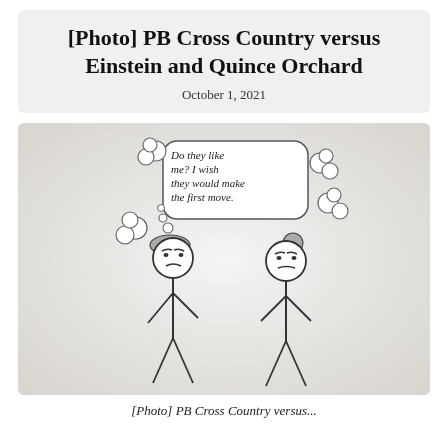[Photo] PB Cross Country versus Einstein and Quince Orchard
October 1, 2021
[Figure (illustration): Hand-drawn stick figure illustration showing two stick figures (one with a cap facing left, one with a bun facing right) standing apart. A thought bubble above the left figure reads: 'Do they like me? I wish they would make the first move.' Additional cloud puff shapes float around the thought bubble.]
[Photo] PB Cross Country versus...